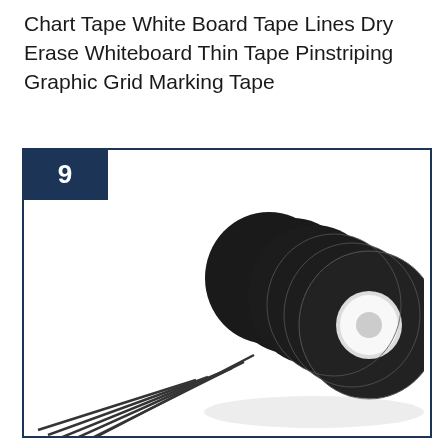Chart Tape White Board Tape Lines Dry Erase Whiteboard Thin Tape Pinstriping Graphic Grid Marking Tape
[Figure (photo): Product listing image showing black rolls of thin chart tape / pinstriping tape arranged in a fan pattern, with a number 9 badge in the top-left corner of the product card frame.]